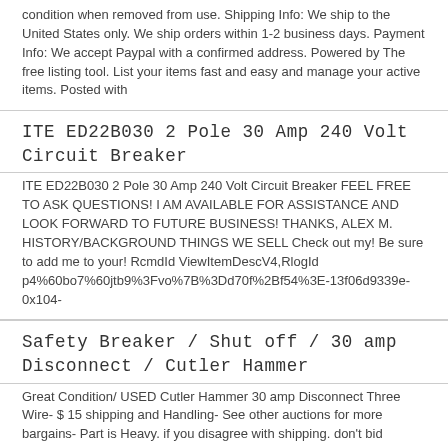condition when removed from use. Shipping Info: We ship to the United States only. We ship orders within 1-2 business days. Payment Info: We accept Paypal with a confirmed address. Powered by The free listing tool. List your items fast and easy and manage your active items. Posted with
ITE ED22B030 2 Pole 30 Amp 240 Volt Circuit Breaker
ITE ED22B030 2 Pole 30 Amp 240 Volt Circuit Breaker FEEL FREE TO ASK QUESTIONS! I AM AVAILABLE FOR ASSISTANCE AND LOOK FORWARD TO FUTURE BUSINESS! THANKS, ALEX M. HISTORY/BACKGROUND THINGS WE SELL Check out my! Be sure to add me to your! RcmdId ViewItemDescV4,RlogId p4%60bo7%60jtb9%3Fvo%7B%3Dd70f%2Bf54%3E-13f06d9339e-0x104-
Safety Breaker / Shut off / 30 amp Disconnect / Cutler Hammer
Great Condition/ USED Cutler Hammer 30 amp Disconnect Three Wire- $ 15 shipping and Handling- See other auctions for more bargains- Part is Heavy. if you disagree with shipping. don't bid
SQUARE D SCHNEIDER TYPE EJB EJB24030 3 POLE 30 AMP 240 / 480 V CIRCUIT BREAKER